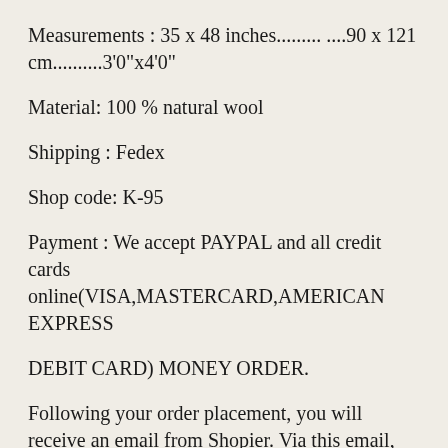Measurements : 35 x 48 inches......... ....90 x 121 cm..........3'0"x4'0"
Material: 100 % natural wool
Shipping : Fedex
Shop code: K-95
Payment : We accept PAYPAL and all credit cards online(VISA,MASTERCARD,AMERICAN EXPRESS
DEBIT CARD) MONEY ORDER.
Following your order placement, you will receive an email from Shopier. Via this email, you will be able to pay securely your debit/credit card.